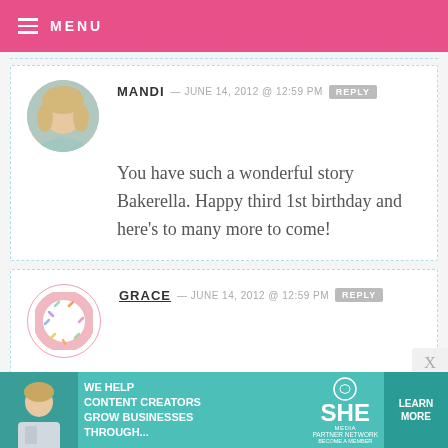MENU
MANDI — JUNE 14, 2012 @ 12:59 PM REPLY
You have such a wonderful story Bakerella. Happy third 1st birthday and here's to many more to come!
GRACE — JUNE 14, 2012 @ 12:59 PM REPLY
Happy B-day! :D!
[Figure (other): Advertisement banner: SHE Media Partner Network — We help content creators grow businesses through... Learn More]